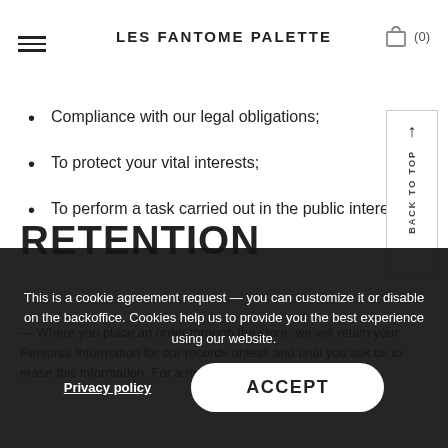LES FANTOME PALETTE
Compliance with our legal obligations;
To protect your vital interests;
To perform a task carried out in the public interest;
RETENTION
Where you place an order through the store, we will retain your Personal Information for our records unless and until you ask us to erase this information. For a right of erasure, Your...
This is a cookie agreement request — you can customize it or disable on the backoffice. Cookies help us to provide you the best experience using our website.